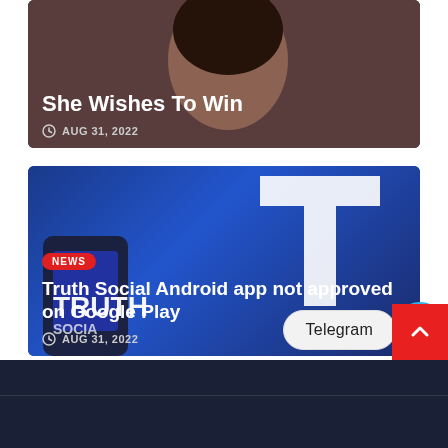[Figure (photo): Partial top card with dark background showing woman's face, title 'She Wishes To Win' and date AUG 31, 2022]
She Wishes To Win
AUG 31, 2022
[Figure (photo): News card with Truth Social Android app story. Blue background with Truth Social logo/phone mockup. NEWS badge in red, title 'Truth Social Android app not approved on Google Play', date AUG 31, 2022]
Truth Social Android app not approved on Google Play
AUG 31, 2022
Telegram  [scroll to top button]